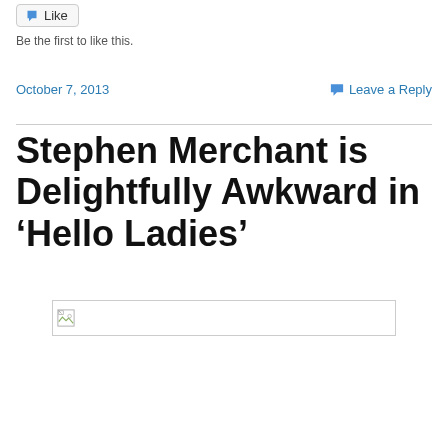[Figure (other): Like button with blue star icon]
Be the first to like this.
October 7, 2013
Leave a Reply
Stephen Merchant is Delightfully Awkward in ‘Hello Ladies’
[Figure (other): Broken image placeholder]